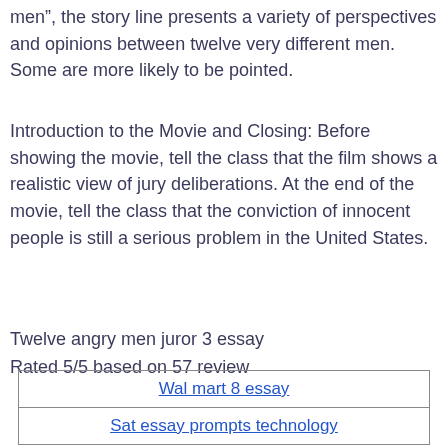men”, the story line presents a variety of perspectives and opinions between twelve very different men. Some are more likely to be pointed.
Introduction to the Movie and Closing: Before showing the movie, tell the class that the film shows a realistic view of jury deliberations. At the end of the movie, tell the class that the conviction of innocent people is still a serious problem in the United States.
Twelve angry men juror 3 essay
Rated 5/5 based on 57 review
| Wal mart 8 essay |
| Sat essay prompts technology |